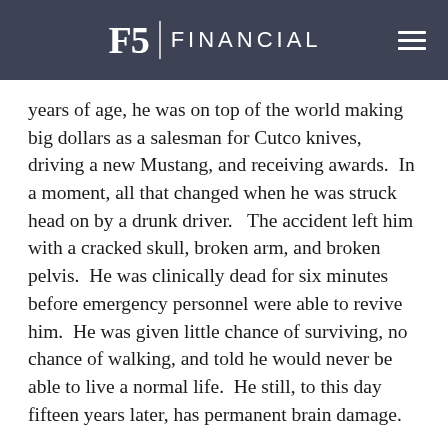F5 FINANCIAL
years of age, he was on top of the world making big dollars as a salesman for Cutco knives, driving a new Mustang, and receiving awards.  In a moment, all that changed when he was struck head on by a drunk driver.   The accident left him with a cracked skull, broken arm, and broken pelvis.  He was clinically dead for six minutes before emergency personnel were able to revive him.  He was given little chance of surviving, no chance of walking, and told he would never be able to live a normal life.  He still, to this day fifteen years later, has permanent brain damage.
You know how the story ends.  Elrod made a full recovery.  He has rebuilt his life and is now a widely sought after inspirational speaker.  And he's written a